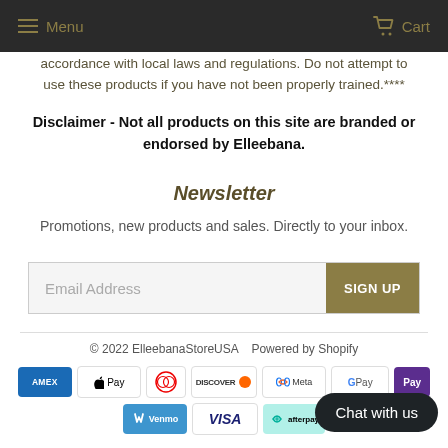Menu  Cart
accordance with local laws and regulations. Do not attempt to use these products if you have not been properly trained.****
Disclaimer - Not all products on this site are branded or endorsed by Elleebana.
Newsletter
Promotions, new products and sales. Directly to your inbox.
Email Address  SIGN UP
© 2022 ElleebanaStoreUSA  Powered by Shopify
[Figure (other): Payment method icons: Amex, Apple Pay, Diners, Discover, Meta, Google Pay, (Pay), Venmo, Visa, Afterpay]
Chat with us